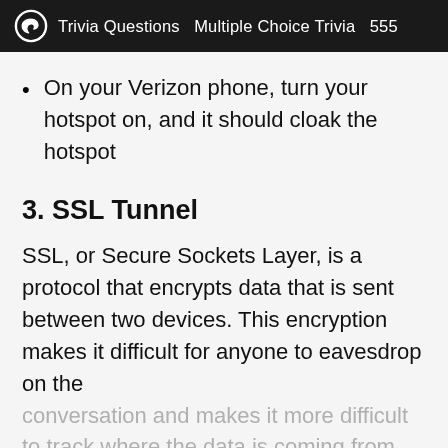Trivia Questions  Multiple Choice Trivia  555
On your Verizon phone, turn your hotspot on, and it should cloak the hotspot
3. SSL Tunnel
SSL, or Secure Sockets Layer, is a protocol that encrypts data that is sent between two devices. This encryption makes it difficult for anyone to eavesdrop on the conversation and makes it more difficult to track where the data is coming from